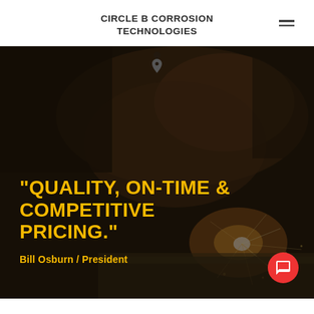CIRCLE B CORROSION TECHNOLOGIES
[Figure (photo): A welder working with sparks flying in a dark industrial setting. Overlaid in bold yellow text is the quote: "QUALITY, ON-TIME & COMPETITIVE PRICING." attributed to Bill Osburn / President.]